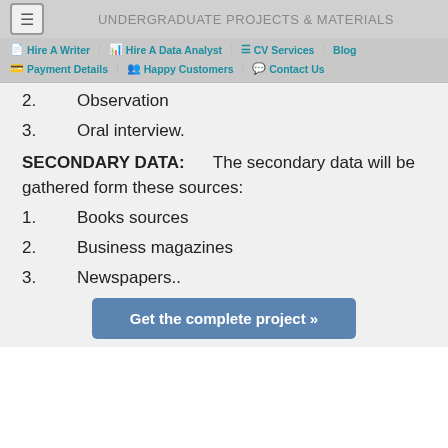UNDERGRADUATE PROJECTS & MATERIALS
2.   Observation
3.   Oral interview.
SECONDARY DATA:   The secondary data will be gathered form these sources:
1.   Books sources
2.   Business magazines
3.   Newspapers..
Get the complete project »